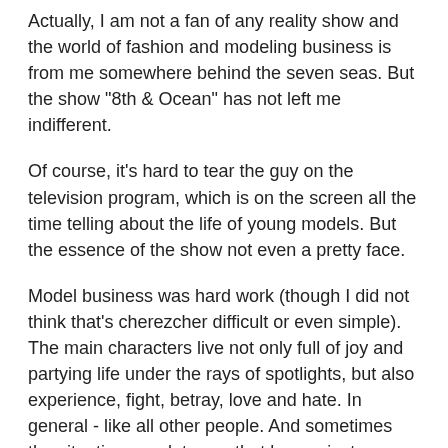Actually, I am not a fan of any reality show and the world of fashion and modeling business is from me somewhere behind the seven seas. But the show "8th & Ocean" has not left me indifferent.
Of course, it's hard to tear the guy on the television program, which is on the screen all the time telling about the life of young models. But the essence of the show not even a pretty face.
Model business was hard work (though I did not think that's cherezcher difficult or even simple). The main characters live not only full of joy and partying life under the rays of spotlights, but also experience, fight, betray, love and hate. In general - like all other people. And sometimes the situation escalates so that leaves just one question: where is rolling this world?
Stars of the show - beginners model nevertheless also true. But it is not only because of the beautiful pictures. I was